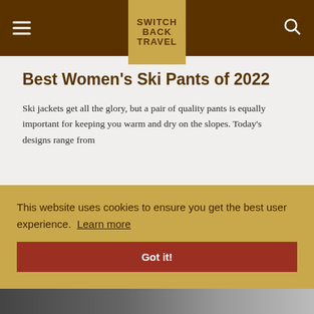SWITCH BACK TRAVEL
Best Women's Ski Pants of 2022
Ski jackets get all the glory, but a pair of quality pants is equally important for keeping you warm and dry on the slopes. Today's designs range from
This website uses cookies to ensure you get the best user experience. Learn more
Got it!
[Figure (photo): Bottom partial image strip showing ski equipment]